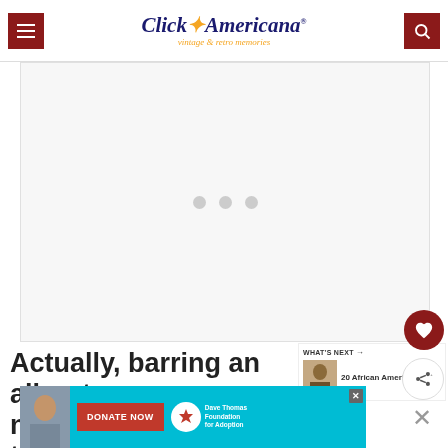Click Americana — vintage & retro memories
[Figure (other): Large empty/loading ad banner area with three dots indicating loading]
Actually, barring an all-out wa... nobody foresees, the following groups a... that
[Figure (other): What's Next sidebar with thumbnail image and text '20 African American...']
[Figure (other): Donate Now banner for Dave Thomas Foundation for Adoption with teenager photo and teal background]